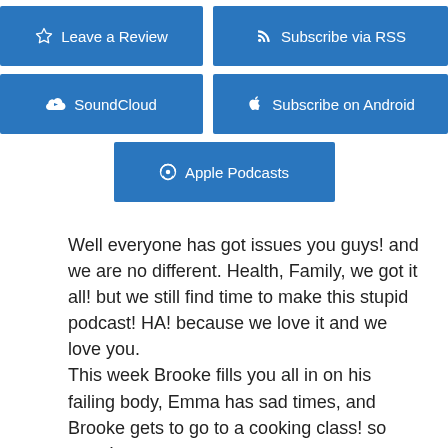[Figure (other): Blue button: Leave a Review with star icon]
[Figure (other): Blue button: Subscribe via RSS with RSS icon]
[Figure (other): Blue button: SoundCloud with cloud icon]
[Figure (other): Blue button: Subscribe on Android with Android icon]
[Figure (other): Blue button: Apple Podcasts with podcast icon]
Well everyone has got issues you guys! and we are no different. Health, Family, we got it all! but we still find time to make this stupid podcast! HA! because we love it and we love you.
This week Brooke fills you all in on his failing body, Emma has sad times, and Brooke gets to go to a cooking class! so great!
Brooke recommends Ravel's Valses Nobles et Sentimental.
please enjoy and then go on and email us!